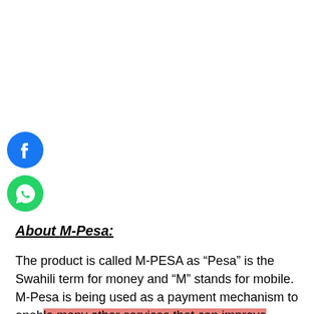[Figure (illustration): Facebook social share icon — blue circle with white 'f' logo]
[Figure (illustration): WhatsApp social share icon — green circle with white phone/chat logo]
About M-Pesa:
The product is called M-PESA as “Pesa” is the Swahili term for money and “M” stands for mobile. M-Pesa is being used as a payment mechanism to enable many other services that can improve people’s lives. It was